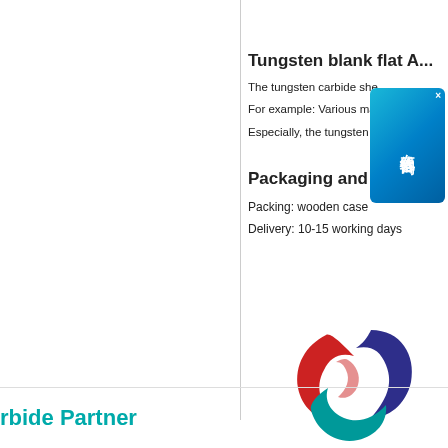Tungsten blank flat A...
The tungsten carbide she...
For example: Various ma...tu...
Especially, the tungsten ca...e...
Packaging and Delivery
Packing: wooden case
Delivery: 10-15 working days
[Figure (logo): Company logo with swirl design in red, dark blue, and teal colors]
rbide Partner